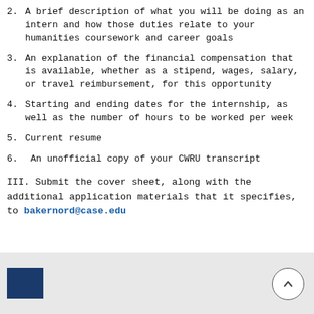2. A brief description of what you will be doing as an intern and how those duties relate to your humanities coursework and career goals
3. An explanation of the financial compensation that is available, whether as a stipend, wages, salary, or travel reimbursement, for this opportunity
4. Starting and ending dates for the internship, as well as the number of hours to be worked per week
5. Current resume
6.  An unofficial copy of your CWRU transcript
III. Submit the cover sheet, along with the additional application materials that it specifies, to bakernord@case.edu